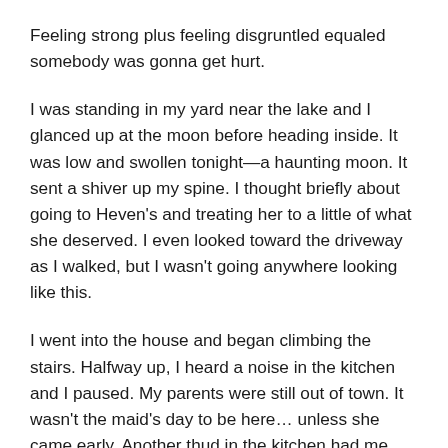Feeling strong plus feeling disgruntled equaled somebody was gonna get hurt.
I was standing in my yard near the lake and I glanced up at the moon before heading inside. It was low and swollen tonight—a haunting moon. It sent a shiver up my spine. I thought briefly about going to Heven's and treating her to a little of what she deserved. I even looked toward the driveway as I walked, but I wasn't going anywhere looking like this.
I went into the house and began climbing the stairs. Halfway up, I heard a noise in the kitchen and I paused. My parents were still out of town. It wasn't the maid's day to be here… unless she came early. Another thud in the kitchen had me spinning on the stairs to see what it was.